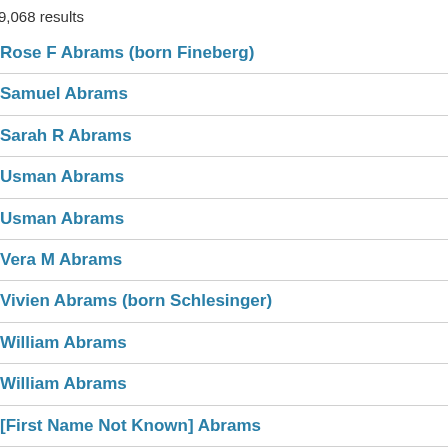9,068 results
Rose F Abrams (born Fineberg)
Samuel Abrams
Sarah R Abrams
Usman Abrams
Usman Abrams
Vera M Abrams
Vivien Abrams (born Schlesinger)
William Abrams
William Abrams
[First Name Not Known] Abrams